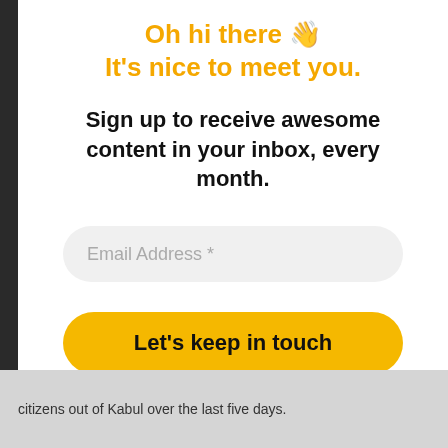Oh hi there 👋
It's nice to meet you.
Sign up to receive awesome content in your inbox, every month.
Email Address *
Let's keep in touch
We don't spam!
citizens out of Kabul over the last five days.